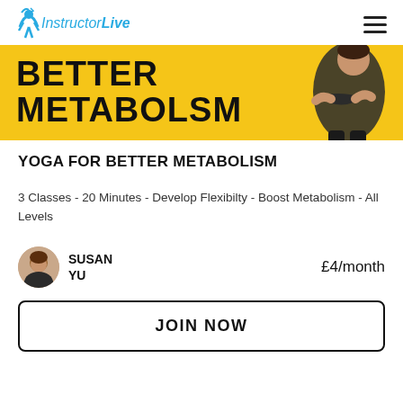InstructorLive
[Figure (photo): InstructorLive logo with a blue figure icon and the text InstructorLive in blue, plus a hamburger menu icon on the right]
[Figure (photo): Yellow banner with bold black text BETTER METABOLISM and a person (woman) on the right side with arms crossed]
YOGA FOR BETTER METABOLISM
3 Classes - 20 Minutes - Develop Flexibilty - Boost Metabolism - All Levels
SUSAN YU
£4/month
JOIN NOW